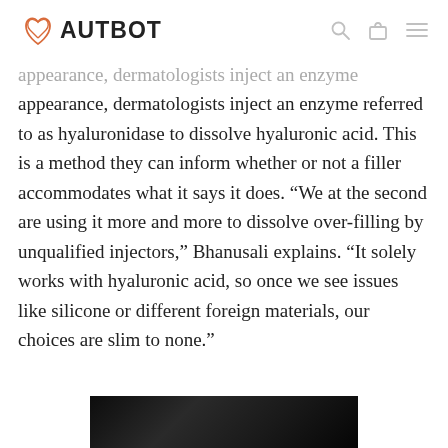AUTBOT
appearance, dermatologists inject an enzyme referred to as hyaluronidase to dissolve hyaluronic acid. This is a method they can inform whether or not a filler accommodates what it says it does. “We at the second are using it more and more to dissolve over-filling by unqualified injectors,” Bhanusali explains. “It solely works with hyaluronic acid, so once we see issues like silicone or different foreign materials, our choices are slim to none.”
[Figure (photo): Dark/black and white photograph, partial view at bottom of page]